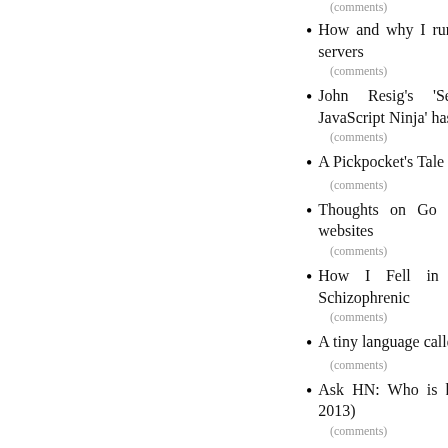(comments)
How and why I run my own DNS servers
(comments)
John Resig's 'Secrets of the JavaScript Ninja' has been released
(comments)
A Pickpocket's Tale
(comments)
Thoughts on Go after writing 3 websites
(comments)
How I Fell in Love with a Schizophrenic
(comments)
A tiny language called Z
(comments)
Ask HN: Who is hiring? (January 2013)
(comments)